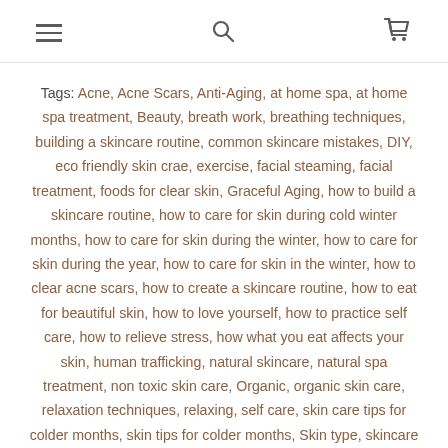[hamburger menu] [search] [cart]
Tags: Acne, Acne Scars, Anti-Aging, at home spa, at home spa treatment, Beauty, breath work, breathing techniques, building a skincare routine, common skincare mistakes, DIY, eco friendly skin crae, exercise, facial steaming, facial treatment, foods for clear skin, Graceful Aging, how to build a skincare routine, how to care for skin during cold winter months, how to care for skin during the winter, how to care for skin during the year, how to care for skin in the winter, how to clear acne scars, how to create a skincare routine, how to eat for beautiful skin, how to love yourself, how to practice self care, how to relieve stress, how what you eat affects your skin, human trafficking, natural skincare, natural spa treatment, non toxic skin care, Organic, organic skin care, relaxation techniques, relaxing, self care, skin care tips for colder months, skin tips for colder months, Skin type, skincare mistakes, stress management, tips for clear skin, Vitamin C, women